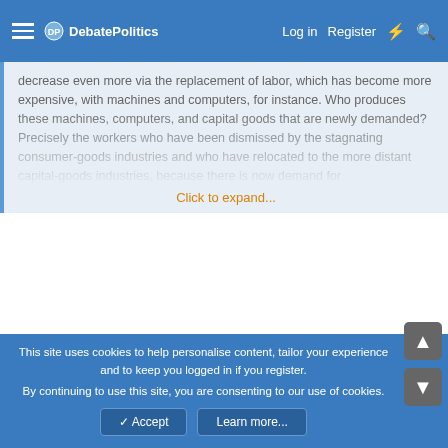DebatePolitics — Log in  Register
decrease even more via the replacement of labor, which has become more expensive, with machines and computers, for instance. Who produces these machines, computers, and capital goods that are newly demanded? Precisely the workers who have been dismissed by the stagnating consumer-goods industries and who have relocated to the more distant capital-goods... Click to expand...
Explicit consideration of time and stages of production are abandoned in this snippet. Taken literally, this snippet makes the rather heroic, IMO, assumption that 'who produces these machines' have either been instantly retrained to produce high-tech goods, making no mention of the highly unlikely proposition that their previous production of other consumer goods qualified them for immediate entry into their new jobs. It has been many years since I read Ricardo, but IIRC, he had much more to say.
This site uses cookies to help personalise content, tailor your experience and to keep you logged in if you register.
By continuing to use this site, you are consenting to our use of cookies.